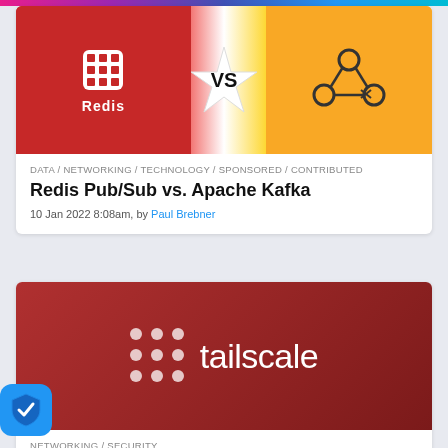[Figure (illustration): Redis vs Apache Kafka promotional image with Redis logo on red background on left, VS starburst in center, and Kafka network graph icon on yellow background on right]
DATA / NETWORKING / TECHNOLOGY / SPONSORED / CONTRIBUTED
Redis Pub/Sub vs. Apache Kafka
10 Jan 2022 8:08am, by Paul Brebner
[Figure (logo): Tailscale logo on dark red gradient background — grid of dots on left and 'tailscale' wordmark in white on right]
NETWORKING / SECURITY
Tailscale: A Virtual Private Network for Zero Trust